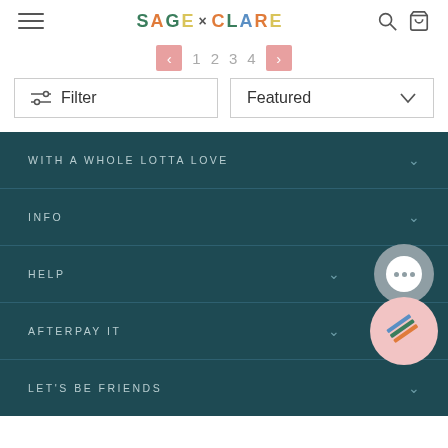[Figure (screenshot): Sage x Clare e-commerce website header with hamburger menu, colorful logo, search and bag icons]
1  2  3  4
Filter
Featured
WITH A WHOLE LOTTA LOVE
INFO
HELP
AFTERPAY IT
LET'S BE FRIENDS